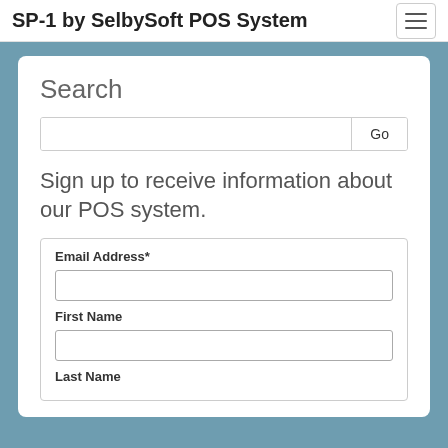SP-1 by SelbySoft POS System
Search
Sign up to receive information about our POS system.
Email Address*
First Name
Last Name